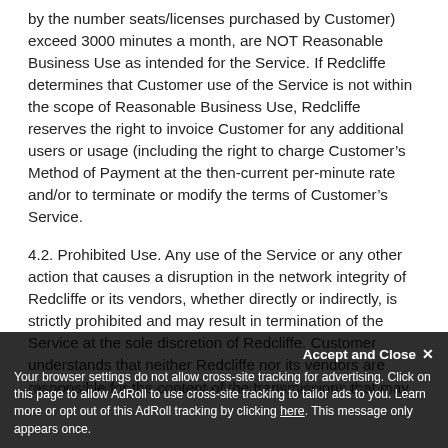by the number seats/licenses purchased by Customer) exceed 3000 minutes a month, are NOT Reasonable Business Use as intended for the Service. If Redcliffe determines that Customer use of the Service is not within the scope of Reasonable Business Use, Redcliffe reserves the right to invoice Customer for any additional users or usage (including the right to charge Customer's Method of Payment at the then-current per-minute rate and/or to terminate or modify the terms of Customer's Service.
4.2. Prohibited Use. Any use of the Service or any other action that causes a disruption in the network integrity of Redcliffe or its vendors, whether directly or indirectly, is strictly prohibited and may result in termination of the Service at the sole discretion of Redcliffe. Customer understands that neither Redcliffe nor its vendors are responsible for the content of the transmissions that may pass through the Internet and/or the Service. Customer
Cookie notice overlay: Accept and Close. Your browser settings do not allow cross-site tracking for advertising. Click on this page to allow AdRoll to use cross-site tracking to tailor ads to you. Learn more or opt out of this AdRoll tracking by clicking here. This message only appears once.